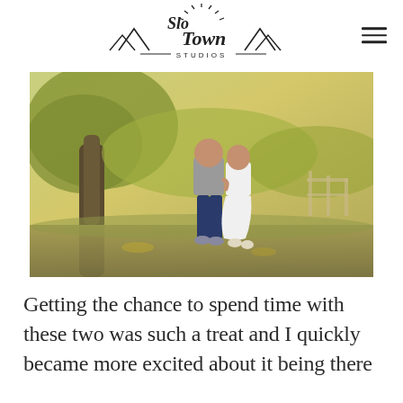[Figure (logo): Slo Town Studios logo with script text and mountain/sun illustration]
[Figure (photo): A couple walking together outdoors in a park with large trees and golden-green foliage. Man in grey shirt and jeans, woman in white dress.]
Getting the chance to spend time with these two was such a treat and I quickly became more excited about it being there